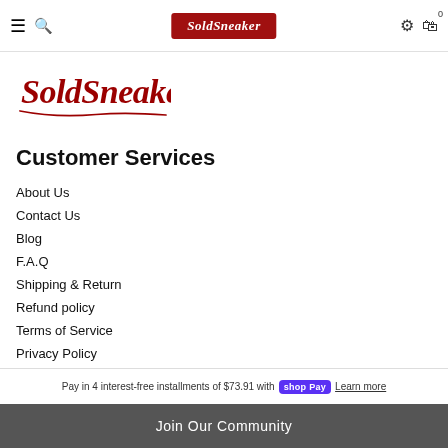SoldSneaker navigation bar with hamburger menu, search, logo, settings, and cart icons
[Figure (logo): SoldSneaker cursive red logo on white background, large version]
Customer Services
About Us
Contact Us
Blog
F.A.Q
Shipping & Return
Refund policy
Terms of Service
Privacy Policy
Pay in 4 interest-free installments of $73.91 with Shop Pay Learn more
Join Our Community